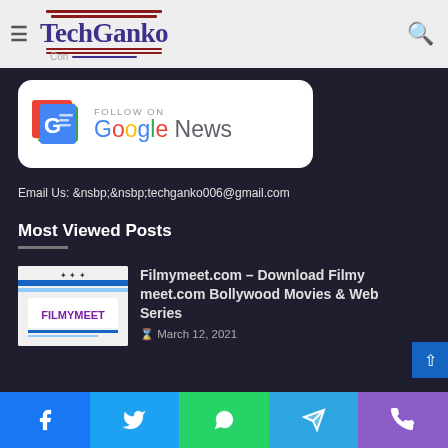TechGanko
[Figure (logo): TechGanko website logo with red horizontal lines and blue text]
[Figure (screenshot): Follow on Google News banner with Google News logo and colorful icon]
Email Us: &nsbp;&nsbp;techganko006@gmail.com
Most Viewed Posts
[Figure (screenshot): Filmymeet website screenshot thumbnail showing FILMYMEET text in purple]
Filmymeet.com – Download Filmy meet.com Bollywood Movies & Web Series
March 12, 2021
Facebook | Twitter | WhatsApp | Telegram | Phone